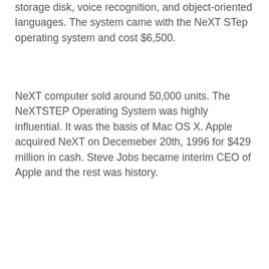storage disk, voice recognition, and object-oriented languages. The system came with the NeXT STep operating system and cost $6,500.
NeXT computer sold around 50,000 units. The NeXTSTEP Operating System was highly influential. It was the basis of Mac OS X. Apple acquired NeXT on Decemeber 20th, 1996 for $429 million in cash. Steve Jobs became interim CEO of Apple and the rest was history.